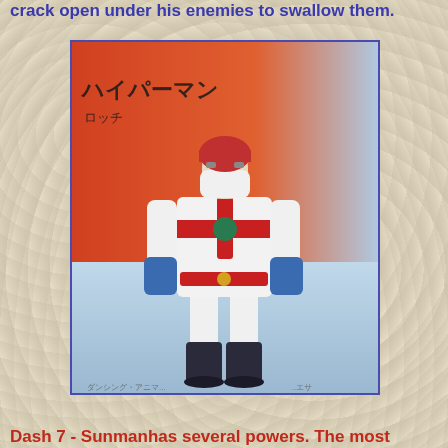crack open under his enemies to swallow them.
[Figure (photo): Action figure of a superhero character wearing a white bodysuit with red cross-shaped chest harness, red belt, blue gloves, dark boots, white mask/face cover, and a red headpiece. Japanese text visible in upper left background. Background is orange-red fading to light blue.]
Dash 7 - Sunmanhas several powers. The most